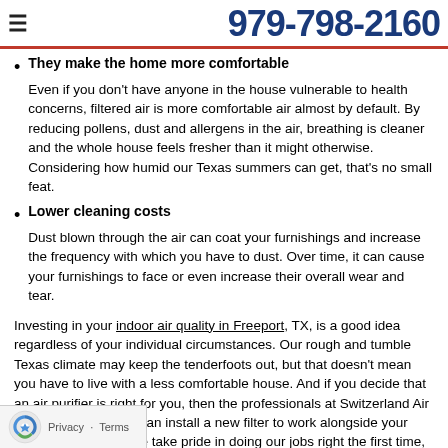≡  979-798-2160
They make the home more comfortable
Even if you don't have anyone in the house vulnerable to health concerns, filtered air is more comfortable air almost by default. By reducing pollens, dust and allergens in the air, breathing is cleaner and the whole house feels fresher than it might otherwise. Considering how humid our Texas summers can get, that's no small feat.
Lower cleaning costs
Dust blown through the air can coat your furnishings and increase the frequency with which you have to dust. Over time, it can cause your furnishings to face or even increase their overall wear and tear.
Investing in your indoor air quality in Freeport, TX, is a good idea regardless of your individual circumstances. Our rough and tumble Texas climate may keep the tenderfoots out, but that doesn't mean you have to live with a less comfortable house. And if you decide that an air purifier is right for you, then the professionals at Switzerland Air are here to help. We can install a new filter to work alongside your HVAC system, and we take pride in doing our jobs right the first time, every time. Pick up the phone and give us a call today to schedule an appointment. You'll be glad you did!
Privacy · Terms